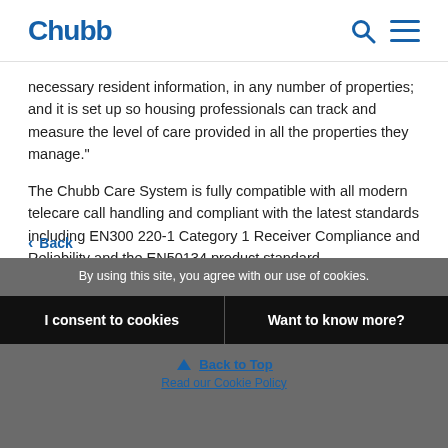Chubb
necessary resident information, in any number of properties; and it is set up so housing professionals can track and measure the level of care provided in all the properties they manage."
The Chubb Care System is fully compatible with all modern telecare call handling and compliant with the latest standards including EN300 220-1 Category 1 Receiver Compliance and Reliability and the EN50134 product standard.
For more information, visit www.chubbcommunitycare.co.uk.
< Back
By using this site, you agree with our use of cookies.
I consent to cookies
Want to know more?
Back to Top
Read our Cookie Policy